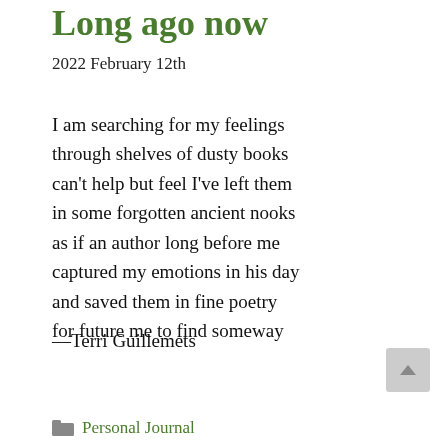Long ago now
2022 February 12th
I am searching for my feelings
through shelves of dusty books
can't help but feel I've left them
in some forgotten ancient nooks
as if an author long before me
captured my emotions in his day
and saved them in fine poetry
for future me to find someway
—Terri Guillemets
Personal Journal